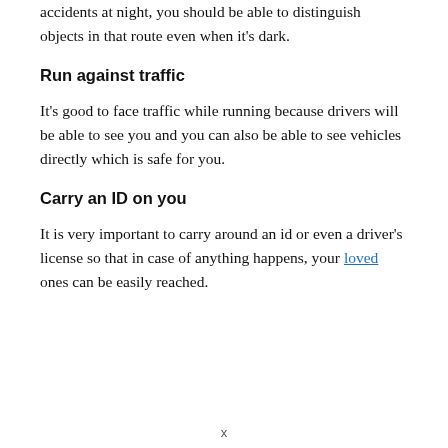accidents at night, you should be able to distinguish objects in that route even when it's dark.
Run against traffic
It's good to face traffic while running because drivers will be able to see you and you can also be able to see vehicles directly which is safe for you.
Carry an ID on you
It is very important to carry around an id or even a driver's license so that in case of anything happens, your loved ones can be easily reached.
x